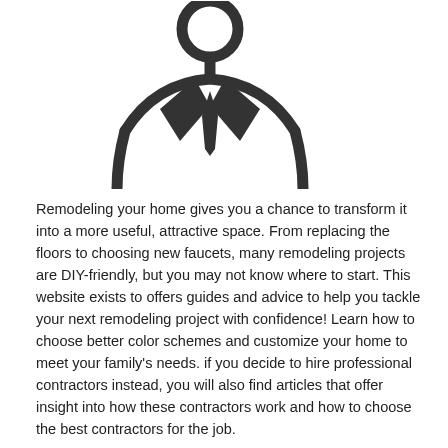[Figure (illustration): A black silhouette icon of a person in a business suit with a tie, shown from the chest up, with stylized lapels and a triangular tie.]
Remodeling your home gives you a chance to transform it into a more useful, attractive space. From replacing the floors to choosing new faucets, many remodeling projects are DIY-friendly, but you may not know where to start. This website exists to offers guides and advice to help you tackle your next remodeling project with confidence! Learn how to choose better color schemes and customize your home to meet your family's needs. if you decide to hire professional contractors instead, you will also find articles that offer insight into how these contractors work and how to choose the best contractors for the job.